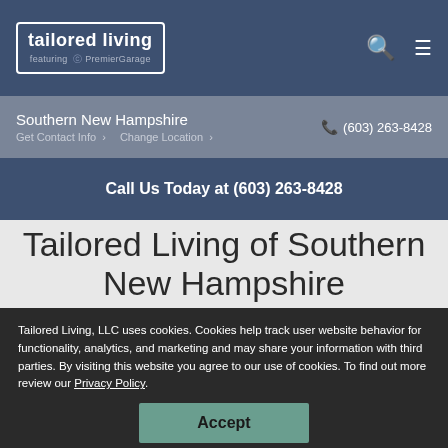tailored living featuring PremierGarage
Southern New Hampshire
Get Contact Info  Change Location
(603) 263-8428
Call Us Today at (603) 263-8428
Tailored Living of Southern New Hampshire
Tailored Living, LLC uses cookies. Cookies help track user website behavior for functionality, analytics, and marketing and may share your information with third parties. By visiting this website you agree to our use of cookies. To find out more review our Privacy Policy.
Accept